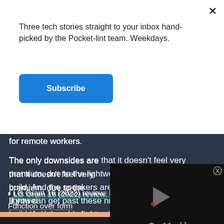Three tech stories straight to your inbox hand-picked by the Pocket-lint team. Weekdays.
Subscribe
for remote workers.
The only downsides are that it doesn't feel very premium, due to the lightweight build. And the speakers aren't great. If you can get past these niggling issues, it's an amazingly capable lightweight
LG Gram 16 (2022) review: Function over form
POCKET-LINT
[Figure (screenshot): Video player overlay with play button and media controls on dark background]
[Figure (photo): Bottom strip showing laptop image with peach/salmon background and dark bezel]